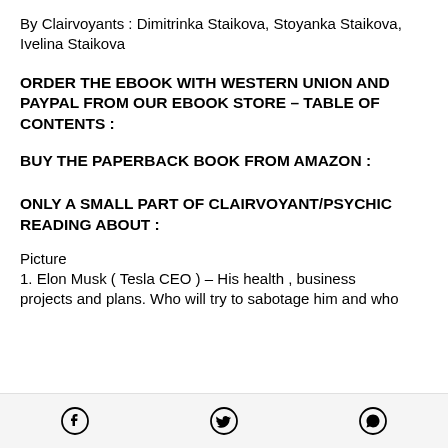By Clairvoyants : Dimitrinka Staikova, Stoyanka Staikova, Ivelina Staikova
ORDER THE EBOOK WITH WESTERN UNION AND PAYPAL FROM OUR EBOOK STORE – TABLE OF CONTENTS :
BUY THE PAPERBACK BOOK FROM AMAZON :
ONLY A SMALL PART OF CLAIRVOYANT/PSYCHIC READING ABOUT :
Picture
1. Elon Musk ( Tesla CEO ) – His health , business projects and plans. Who will try to sabotage him and who
[Facebook icon] [Twitter icon] [WhatsApp icon]